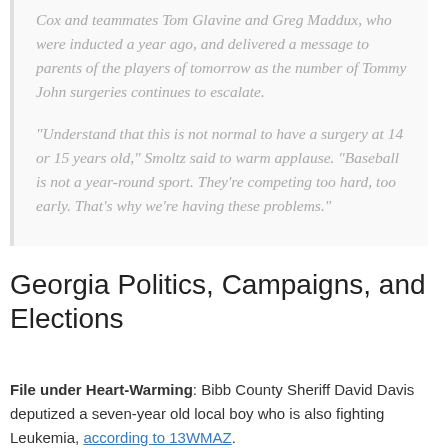Cox and teammates Tom Glavine and Greg Maddux, who were inducted a year ago, and delivered a message to parents of the players of tomorrow as the number of Tommy John surgeries continues to escalate.
"Understand that this is not normal to have a surgery at 14 or 15 years old," Smoltz said to warm applause. "Baseball is not a year-round sport. They're competing too hard, too early. That's why we're having these problems."
Georgia Politics, Campaigns, and Elections
File under Heart-Warming: Bibb County Sheriff David Davis deputized a seven-year old local boy who is also fighting Leukemia, according to 13WMAZ.